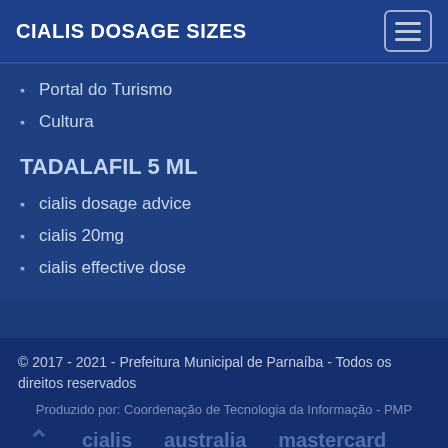CIALIS DOSAGE SIZES
Portal do Turismo
Cultura
TADALAFIL 5 ML
cialis dosage advice
cialis 20mg
cialis effective dose
© 2017 - 2021 - Prefeitura Municipal de Parnaíba - Todos os direitos reservados
Produzido por: Coordenação de Tecnologia da Informação - PMP
cialis   australia   mastercard